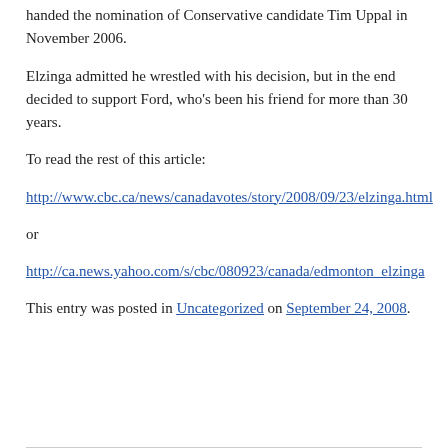handed the nomination of Conservative candidate Tim Uppal in November 2006.
Elzinga admitted he wrestled with his decision, but in the end decided to support Ford, who’s been his friend for more than 30 years.
To read the rest of this article:
http://www.cbc.ca/news/canadavotes/story/2008/09/23/elzinga.html
or
http://ca.news.yahoo.com/s/cbc/080923/canada/edmonton_elzinga
This entry was posted in Uncategorized on September 24, 2008.